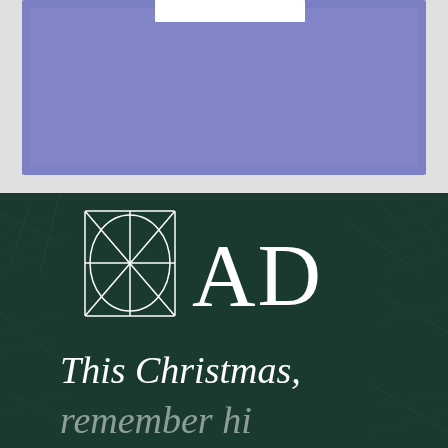[Figure (illustration): Upper portion of page showing a blue/periwinkle colored rectangle or card design with a white inner rectangle, on a light gray background.]
[Figure (illustration): Lower portion showing a dark green background with pine/fir branch texture. Contains the 'AD' logo with a square-with-geometric-lines icon to its left, and text below reading 'This Christmas,' with a second line beginning.]